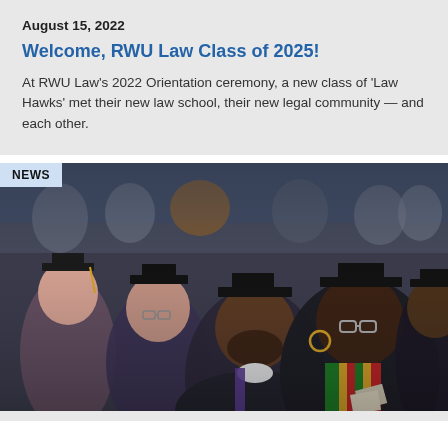August 15, 2022
Welcome, RWU Law Class of 2025!
At RWU Law's 2022 Orientation ceremony, a new class of 'Law Hawks' met their new law school, their new legal community — and each other.
[Figure (photo): Graduates in academic regalia (caps and gowns) seated at a ceremony. In the foreground, a man with a beard and a woman with glasses and a colorful kente stole are visible. A 'NEWS' badge appears in the top-left corner of the image.]